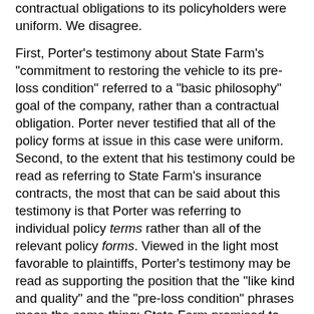contractual obligations to its policyholders were uniform. We disagree.
First, Porter's testimony about State Farm's "commitment to restoring the vehicle to its pre-loss condition" referred to a "basic philosophy" goal of the company, rather than a contractual obligation. Porter never testified that all of the policy forms at issue in this case were uniform. Second, to the extent that his testimony could be read as referring to State Farm's insurance contracts, the most that can be said about this testimony is that Porter was referring to individual policy terms rather than all of the relevant policy forms. Viewed in the light most favorable to plaintiffs, Porter's testimony may be read as supporting the position that the "like kind and quality" and the "pre-loss condition" phrases mean the same thing: State Farm promised to pay to restore the policyholder's vehicle to its preloss condition using parts as good as the parts that were on the vehicle at the time of the loss. However, there is nothing to indicate that Porter's testimony encompasses any other policy language.
An example of a policy provision that falls outside the scope of Porter's testimony is the "you agree" language, which expressly allows for the specification of non-OEM parts. While Porter made brief mention of the "you agree" language in his testimony, he discussed this language only as an